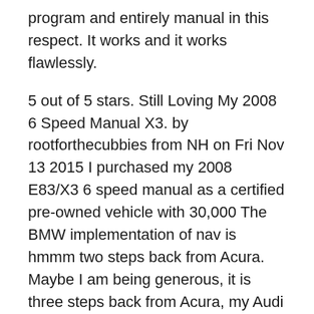program and entirely manual in this respect. It works and it works flawlessly.
5 out of 5 stars. Still Loving My 2008 6 Speed Manual X3. by rootforthecubbies from NH on Fri Nov 13 2015 I purchased my 2008 E83/X3 6 speed manual as a certified pre-owned vehicle with 30,000 The BMW implementation of nav is hmmm two steps back from Acura. Maybe I am being generous, it is three steps back from Acura, my Audi is two steps backwards. The X3 system is not at the same state of evolution as the BMW's equipped with iDrive. It is very easy to program and entirely manual in this respect. It works and it works flawlessly.
Dec 15, 2014B B· View And Download 2008 BMW